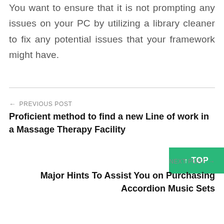You want to ensure that it is not prompting any issues on your PC by utilizing a library cleaner to fix any potential issues that your framework might have.
← PREVIOUS POST
Proficient method to find a new Line of work in a Massage Therapy Facility
NEXT POST →
Major Hints To Assist You on Purchasing Accordion Music Sets